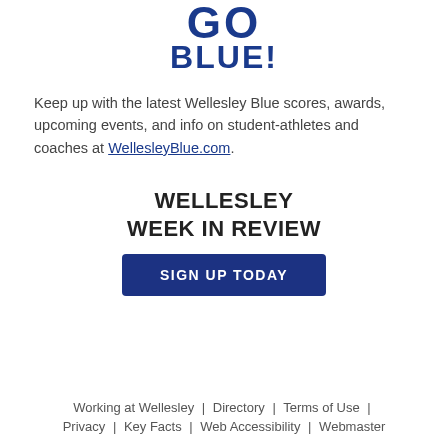[Figure (logo): GO BLUE! text logo in bold dark blue collegiate lettering]
Keep up with the latest Wellesley Blue scores, awards, upcoming events, and info on student-athletes and coaches at WellesleyBlue.com.
WELLESLEY WEEK IN REVIEW
SIGN UP TODAY
Working at Wellesley | Directory | Terms of Use | Privacy | Key Facts | Web Accessibility | Webmaster